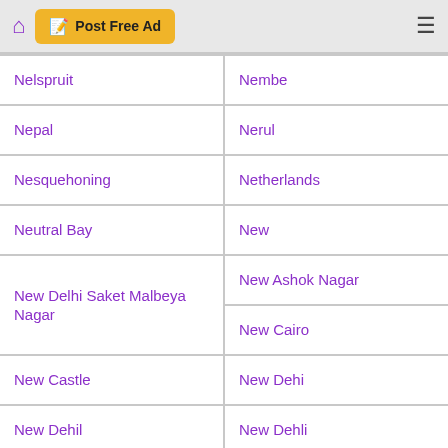Post Free Ad
Nelspruit
Nembe
Nepal
Nerul
Nesquehoning
Netherlands
Neutral Bay
New
New Delhi Saket Malbeya Nagar
New Ashok Nagar
New Cairo
New Castle
New Dehi
New Dehil
New Dehli
New Dehli Janak Puri
New Delhi
New Delhi 110030
New Delhi India